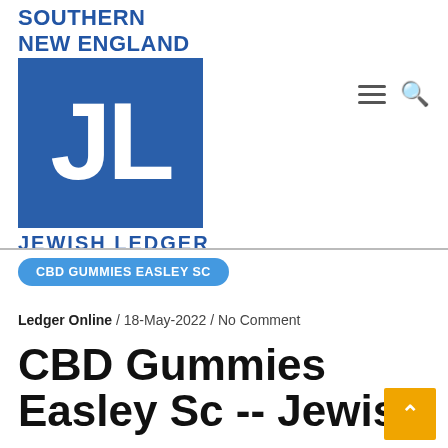[Figure (logo): Southern New England Jewish Ledger logo — blue bold text 'SOUTHERN NEW ENGLAND' above a blue square containing white bold 'JL' letters, with 'JEWISH LEDGER' below in blue.]
CBD GUMMIES EASLEY SC
Ledger Online / 18-May-2022 / No Comment
CBD Gummies Easley Sc -- Jewis...